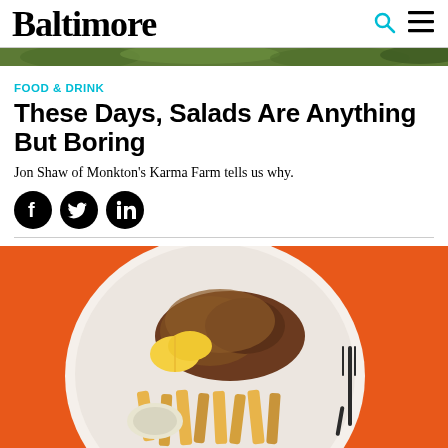Baltimore
[Figure (photo): Narrow green herb/lettuce banner image at top of article]
FOOD & DRINK
These Days, Salads Are Anything But Boring
Jon Shaw of Monkton's Karma Farm tells us why.
[Figure (illustration): Social sharing icons: Facebook, Twitter, LinkedIn]
[Figure (photo): Food photography: a plate with crab, fries, coleslaw, and lemon wedges on an orange background]